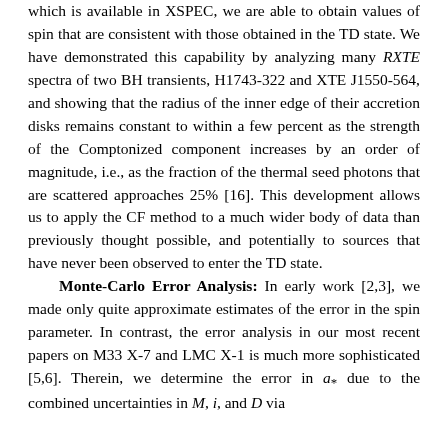which is available in XSPEC, we are able to obtain values of spin that are consistent with those obtained in the TD state. We have demonstrated this capability by analyzing many RXTE spectra of two BH transients, H1743-322 and XTE J1550-564, and showing that the radius of the inner edge of their accretion disks remains constant to within a few percent as the strength of the Comptonized component increases by an order of magnitude, i.e., as the fraction of the thermal seed photons that are scattered approaches 25% [16]. This development allows us to apply the CF method to a much wider body of data than previously thought possible, and potentially to sources that have never been observed to enter the TD state.
Monte-Carlo Error Analysis: In early work [2,3], we made only quite approximate estimates of the error in the spin parameter. In contrast, the error analysis in our most recent papers on M33 X-7 and LMC X-1 is much more sophisticated [5,6]. Therein, we determine the error in a* due to the combined uncertainties in M, i, and D via